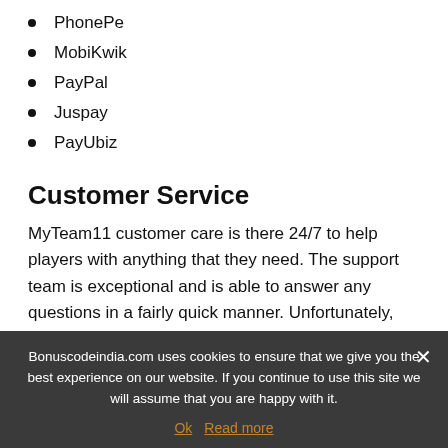PhonePe
MobiKwik
PayPal
Juspay
PayUbiz
Customer Service
MyTeam11 customer care is there 24/7 to help players with anything that they need. The support team is exceptional and is able to answer any questions in a fairly quick manner. Unfortunately, the sole available contact method is through the mail.
So if you have any issues with the MyTeam11 refer
Bonuscodeindia.com uses cookies to ensure that we give you the best experience on our website. If you continue to use this site we will assume that you are happy with it.
Ok   Read more